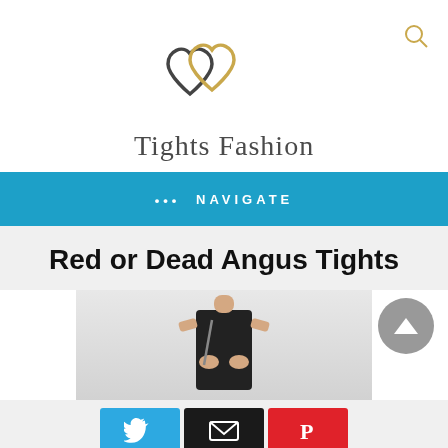[Figure (logo): Tights Fashion logo with two overlapping hearts, one dark/charcoal and one gold, above the site name]
Tights Fashion
••• NAVIGATE
Red or Dead Angus Tights
[Figure (photo): Partial photo of a woman in a black outfit holding a handbag]
[Figure (infographic): Social sharing buttons: Twitter (blue), Email (black), Pinterest (red)]